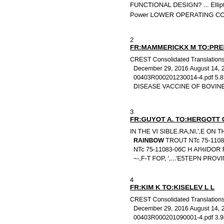FUNCTIONAL DESIGN? ... Elliptical Power LOWER OPERATING COSTS
2
FR:MAMMERICKX M TO:PREDBRAZHEN...
CREST Consolidated Translations CIA- December 29, 2016 August 14, 2005 00403R000201230014-4.pdf 5.8 MB DISEASE VACCINE OF BOVINES SU
3
FR:GUYOT A. TO:HERGOTT G.
IN THE VI SIBLE.RA,NI,',E ON THE ME RAINBOW TROUT NTc 75-11083-06 NTc 75-11083-06C H AI%IDOR Ff K. ~-,F-T FOP, ',...'E5TEPN PROVINCE R
4
FR:KIM K TO:KISELEV L L
CREST Consolidated Translations CIA- December 29, 2016 August 14, 2005 00403R000201090001-4.pdf 3.98 MB MOBILIZING AND UTILIZING INTERN